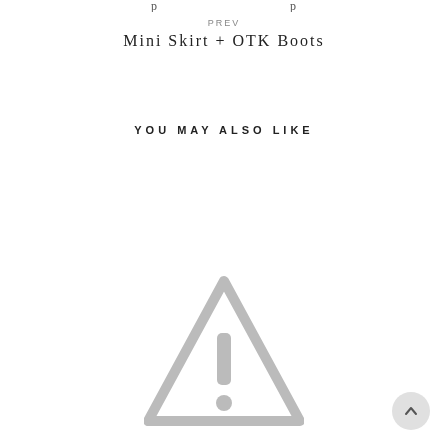PREV
Mini Skirt + OTK Boots
YOU MAY ALSO LIKE
[Figure (illustration): Gray warning/caution triangle icon with exclamation mark, indicating missing or broken image content]
[Figure (illustration): Back to top arrow button - circular gray button with upward chevron arrow]